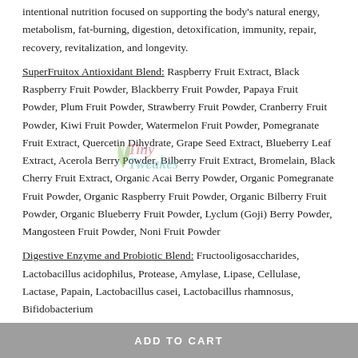intentional nutrition focused on supporting the body's natural energy, metabolism, fat-burning, digestion, detoxification, immunity, repair, recovery, revitalization, and longevity.
SuperFruitox Antioxidant Blend: Raspberry Fruit Extract, Black Raspberry Fruit Powder, Blackberry Fruit Powder, Papaya Fruit Powder, Plum Fruit Powder, Strawberry Fruit Powder, Cranberry Fruit Powder, Kiwi Fruit Powder, Watermelon Fruit Powder, Pomegranate Fruit Extract, Quercetin Dihydrate, Grape Seed Extract, Blueberry Leaf Extract, Acerola Berry Powder, Bilberry Fruit Extract, Bromelain, Black Cherry Fruit Extract, Organic Acai Berry Powder, Organic Pomegranate Fruit Powder, Organic Raspberry Fruit Powder, Organic Bilberry Fruit Powder, Organic Blueberry Fruit Powder, Lyclum (Goji) Berry Powder, Mangosteen Fruit Powder, Noni Fruit Powder
Digestive Enzyme and Probiotic Blend: Fructooligosaccharides, Lactobacillus acidophilus, Protease, Amylase, Lipase, Cellulase, Lactase, Papain, Lactobacillus casei, Lactobacillus rhamnosus, Bifidobacterium
ADD TO CART